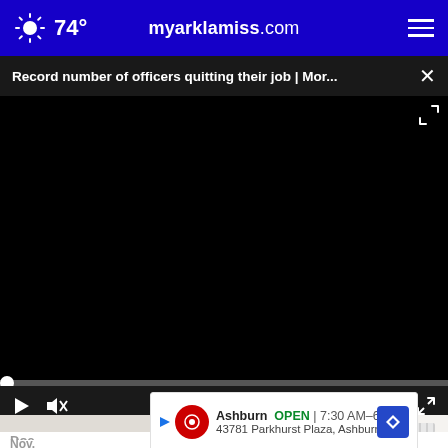74° myarklamiss.com
Record number of officers quitting their job | Mor... ×
[Figure (screenshot): Video player showing black screen with playback controls: play button, mute button, 00:00 timestamp, caption and fullscreen buttons. Progress bar at bottom with white dot at start.]
[Figure (photo): Partial view of a white shoe with perforations and tan sole against a light background.]
Ashburn  OPEN | 7:30 AM–6PM  43781 Parkhurst Plaza, Ashburn
Doc  fe - Nov.